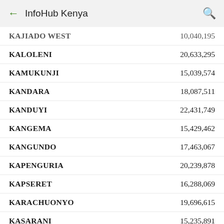InfoHub Kenya
| Constituency | Value |
| --- | --- |
| KAJIADO WEST | 10,040,195 |
| KALOLENI | 20,633,295 |
| KAMUKUNJI | 15,039,574 |
| KANDARA | 18,087,511 |
| KANDUYI | 22,431,749 |
| KANGEMA | 15,429,462 |
| KANGUNDO | 17,463,067 |
| KAPENGURIA | 20,239,878 |
| KAPSERET | 16,288,069 |
| KARACHUONYO | 19,696,615 |
| KASARANI | 15,235,891 |
| KASIPUL | 18,269,116 |
| KATHIANI | 16,350,007 |